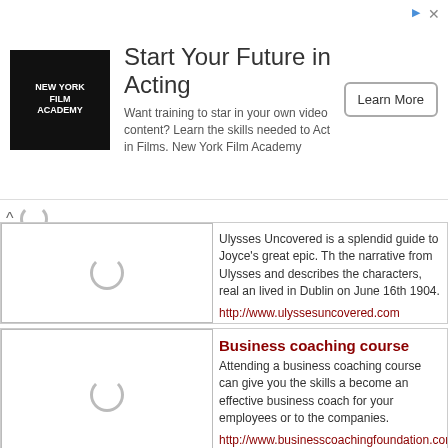[Figure (screenshot): Advertisement banner for New York Film Academy with logo, title 'Start Your Future in Acting', description text, and Learn More button]
Ulysses Uncovered is a splendid guide to Joyce's great epic. The narrative from Ulysses and describes the characters, real and lived in Dublin on June 16th 1904.
http://www.ulyssesuncovered.com
Business coaching course
Attending a business coaching course can give you the skills a become an effective business coach for your employees or to the companies.
http://www.businesscoachingfoundation.com/
Environmentally friendly window cleaning service
If you need a window cleaner fast, please visit our website. We s off window cleaning services and regular window cleaning servi window services & domestic window cleaning contracts.
http://www.dublin-windowcleaning.ie
Commercial cleaning kitchen in Dublin
Professional commercial kitchen cleaning company. Fully insure once off commercial kitchen cleaning and regular commercial kitc